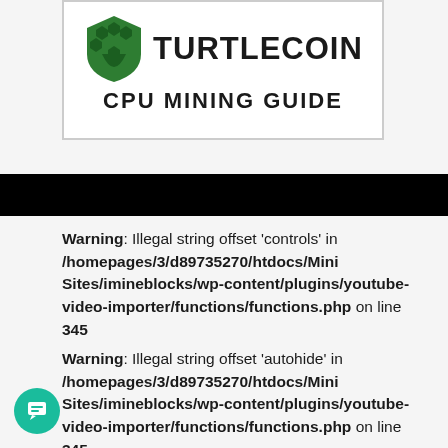[Figure (logo): TurtleCoin CPU Mining Guide logo with green turtle shield icon and bold text]
Warning: Illegal string offset 'controls' in /homepages/3/d89735270/htdocs/Mini Sites/imineblocks/wp-content/plugins/youtube-video-importer/functions/functions.php on line 345
Warning: Illegal string offset 'autohide' in /homepages/3/d89735270/htdocs/Mini Sites/imineblocks/wp-content/plugins/youtube-video-importer/functions/functions.php on line 345